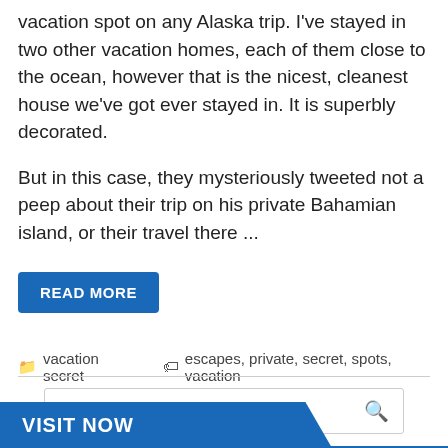vacation spot on any Alaska trip. I've stayed in two other vacation homes, each of them close to the ocean, however that is the nicest, cleanest house we've got ever stayed in. It is superbly decorated.
But in this case, they mysteriously tweeted not a peep about their trip on his private Bahamian island, or their travel there ...
READ MORE
vacation secret   escapes, private, secret, spots, vacation
[Figure (screenshot): Search bar with magnifying glass icon]
VISIT NOW